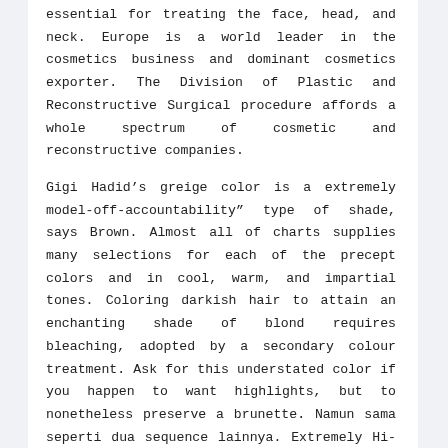essential for treating the face, head, and neck. Europe is a world leader in the cosmetics business and dominant cosmetics exporter. The Division of Plastic and Reconstructive Surgical procedure affords a whole spectrum of cosmetic and reconstructive companies.
Gigi Hadid’s greige color is a extremely model-off-accountability” type of shade, says Brown. Almost all of charts supplies many selections for each of the precept colors and in cool, warm, and impartial tones. Coloring darkish hair to attain an enchanting shade of blond requires bleaching, adopted by a secondary colour treatment. Ask for this understated color if you happen to want highlights, but to nonetheless preserve a brunette. Namun sama seperti dua sequence lainnya. Extremely Hi-Matte pun memiliki